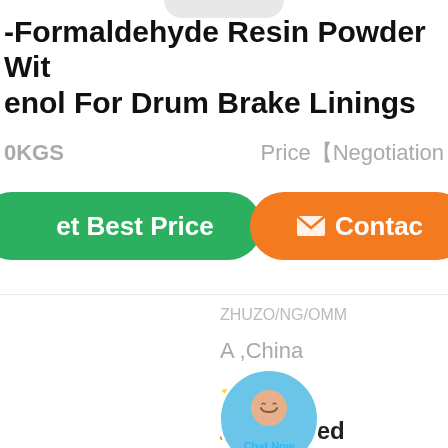Formaldehyde Resin Powder With enol For Drum Brake Linings
0KGS    Price【Negotiation
[Figure (screenshot): Green 'Get Best Price' button on left, orange 'Contact' button on right, with a 'Chat Now' circular avatar overlay in the center]
ZHUZHAO/NG/DRM
A ,China
5.0
Verified